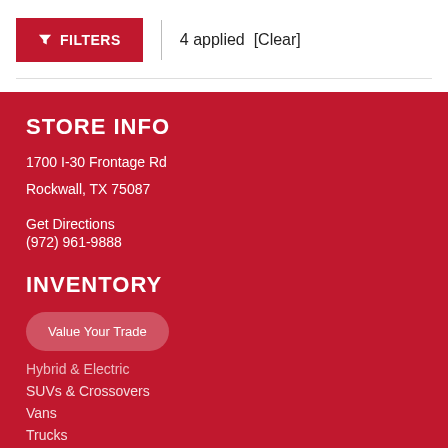FILTERS | 4 applied [Clear]
STORE INFO
1700 I-30 Frontage Rd
Rockwall, TX 75087
Get Directions
(972) 961-9888
INVENTORY
Value Your Trade
Hybrid & Electric
SUVs & Crossovers
Vans
Trucks